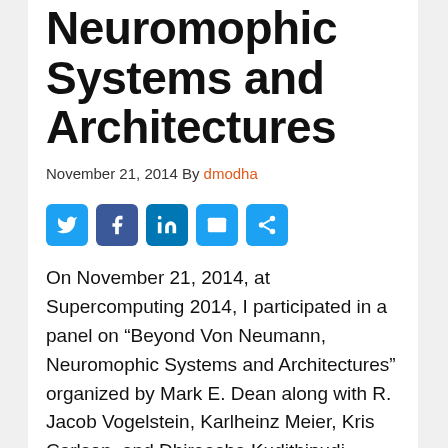Neuromophic Systems and Architectures
November 21, 2014 By dmodha
[Figure (other): Social share buttons: Twitter, Facebook, LinkedIn, Email, Share]
On November 21, 2014, at Supercomputing 2014, I participated in a panel on “Beyond Von Neumann, Neuromophic Systems and Architectures” organized by Mark E. Dean along with R. Jacob Vogelstein, Karlheinz Meier, Kris Carlson, and Dhireesha Kudithipudi.